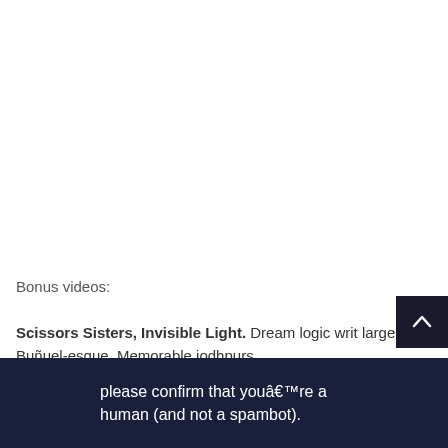Bonus videos:
Scissors Sisters, Invisible Light. Dream logic writ large. Buñuel-esque. Memorable jodhpurs.
please confirm that youâ€™re a human (and not a spambot).